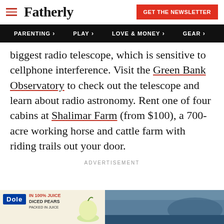Fatherly | GET THE NEWSLETTER
PARENTING > PLAY > LOVE & MONEY > GEAR >
biggest radio telescope, which is sensitive to cellphone interference. Visit the Green Bank Observatory to check out the telescope and learn about radio astronomy. Rent one of four cabins at Shalimar Farm (from $100), a 700-acre working horse and cattle farm with riding trails out your door.
ADVERTISEMENT
[Figure (photo): Advertisement banner at bottom showing Dole fruit cups product on left and landscape/outdoor photo on right]